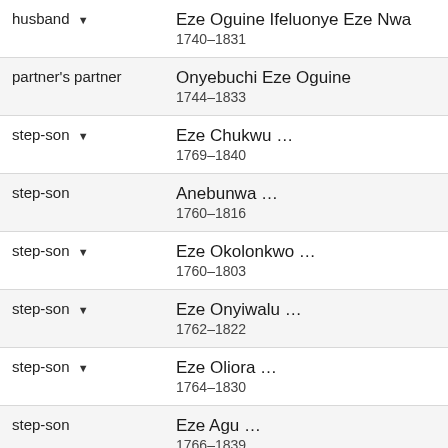| Relationship | Person |
| --- | --- |
| husband | Eze Oguine Ifeluonye Eze Nwa
1740–1831 |
| partner's partner | Onyebuchi Eze Oguine
1744–1833 |
| step-son | Eze Chukwu …
1769–1840 |
| step-son | Anebunwa …
1760–1816 |
| step-son | Eze Okolonkwo …
1760–1803 |
| step-son | Eze Onyiwalu …
1762–1822 |
| step-son | Eze Oliora …
1764–1830 |
| step-son | Eze Agu …
1766–1839 |
| step-son | Eze Oguagbala …
1768–1842 |
| step-son | Eze Ukatu … |